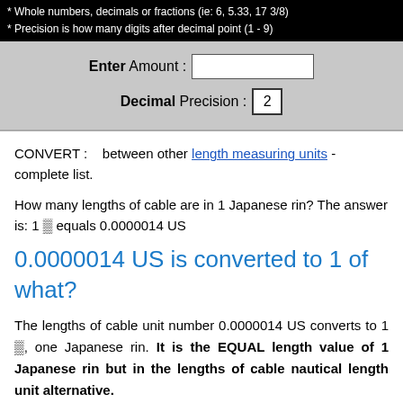* Whole numbers, decimals or fractions (ie: 6, 5.33, 17 3/8)
* Precision is how many digits after decimal point (1 - 9)
Enter Amount : [input box]
Decimal Precision : 2
CONVERT : between other length measuring units - complete list.
How many lengths of cable are in 1 Japanese rin? The answer is: 1 ⌒ equals 0.0000014 US
0.0000014 US is converted to 1 of what?
The lengths of cable unit number 0.0000014 US converts to 1 ⌒, one Japanese rin. It is the EQUAL length value of 1 Japanese rin but in the lengths of cable nautical length unit alternative.